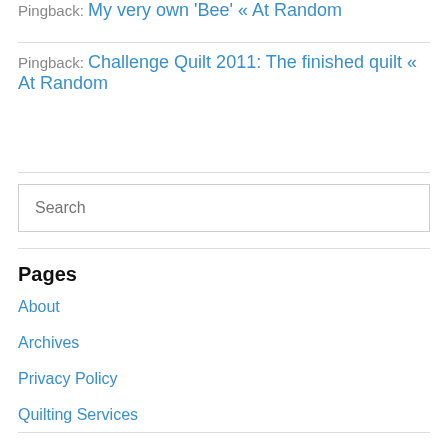Pingback: My very own 'Bee' « At Random
Pingback: Challenge Quilt 2011: The finished quilt « At Random
Search
Pages
About
Archives
Privacy Policy
Quilting Services